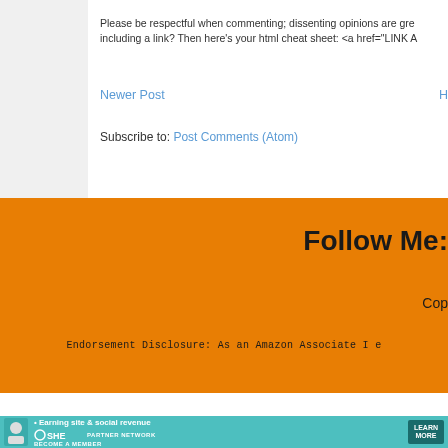Please be respectful when commenting; dissenting opinions are gre including a link? Then here's your html cheat sheet: <a href="LINK A
Newer Post
Subscribe to: Post Comments (Atom)
Follow Me:
Cop
Endorsement Disclosure: As an Amazon Associate I e
[Figure (logo): SHE Media Collective HOME + DIY advertisement banner with play button icon]
Learn More | Privacy
[Figure (infographic): SHE Media Partner Network - Earning site & social revenue - Become a Member - LEARN MORE banner in teal]